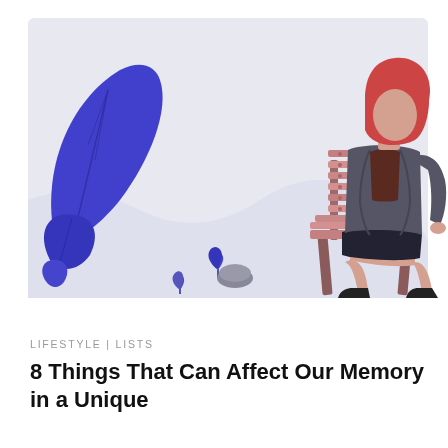[Figure (illustration): Flat style illustration of a person with red hair sitting on a wooden park bench, wearing a dark jacket, brown top, black shorts and black boots. Background is light lavender/blue with large blue/purple stylized leaf plants on the left side, a small blue flower and grey rock in the middle ground.]
LIFESTYLE | LISTS
8 Things That Can Affect Our Memory in a Unique